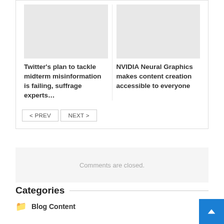[Figure (photo): Placeholder image for Twitter article (light gray rectangle)]
Twitter's plan to tackle midterm misinformation is failing, suffrage experts…
[Figure (photo): Placeholder image for NVIDIA article (light gray rectangle)]
NVIDIA Neural Graphics makes content creation accessible to everyone
< PREV   NEXT >
Comments are closed.
Categories
Blog Content